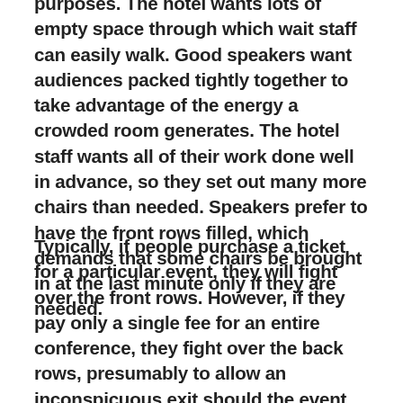purposes. The hotel wants lots of empty space through which wait staff can easily walk. Good speakers want audiences packed tightly together to take advantage of the energy a crowded room generates. The hotel staff wants all of their work done well in advance, so they set out many more chairs than needed. Speakers prefer to have the front rows filled, which demands that some chairs be brought in at the last minute only if they are needed.
Typically, if people purchase a ticket for a particular event, they will fight over the front rows. However, if they pay only a single fee for an entire conference, they fight over the back rows, presumably to allow an inconspicuous exit should the event become too boring. This